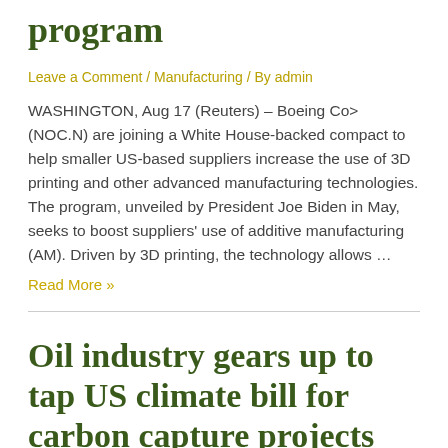program
Leave a Comment / Manufacturing / By admin
WASHINGTON, Aug 17 (Reuters) – Boeing Co> (NOC.N) are joining a White House-backed compact to help smaller US-based suppliers increase the use of 3D printing and other advanced manufacturing technologies. The program, unveiled by President Joe Biden in May, seeks to boost suppliers' use of additive manufacturing (AM). Driven by 3D printing, the technology allows …
Read More »
Oil industry gears up to tap US climate bill for carbon capture projects